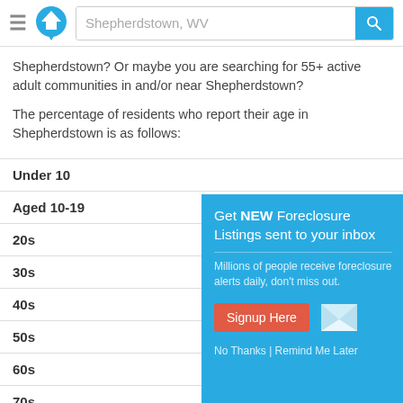Shepherdstown, WV
Shepherdstown? Or maybe you are searching for 55+ active adult communities in and/or near Shepherdstown?
The percentage of residents who report their age in Shepherdstown is as follows:
| Age Group | Percentage |
| --- | --- |
| Under 10 |  |
| Aged 10-19 |  |
| 20s |  |
| 30s |  |
| 40s |  |
| 50s |  |
| 60s | 4.8% |
| 70s | 1.9% |
[Figure (infographic): Popup overlay: Get NEW Foreclosure Listings sent to your inbox. Millions of people receive foreclosure alerts daily, don't miss out. Signup Here button. No Thanks | Remind Me Later links.]